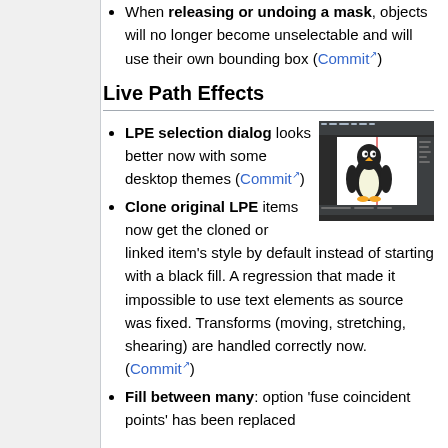When releasing or undoing a mask, objects will no longer become unselectable and will use their own bounding box (Commit)
Live Path Effects
LPE selection dialog looks better now with some desktop themes (Commit)
[Figure (screenshot): Screenshot of LPE selection dialog showing a Linux Tux penguin on a dark-themed interface]
Clone original LPE items now get the cloned or linked item's style by default instead of starting with a black fill. A regression that made it impossible to use text elements as source was fixed. Transforms (moving, stretching, shearing) are handled correctly now. (Commit)
Fill between many: option 'fuse coincident points' has been replaced